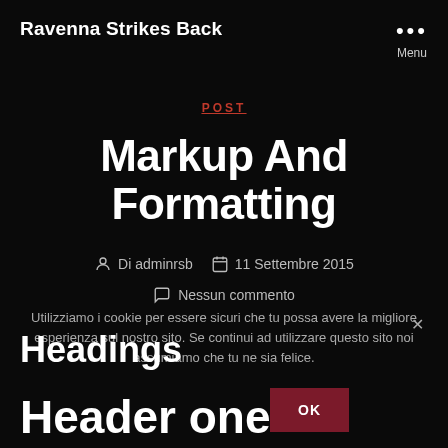Ravenna Strikes Back
POST
Markup And Formatting
Di adminrsb  11 Settembre 2015  Nessun commento
Headings
Utilizziamo i cookie per essere sicuri che tu possa avere la migliore esperienza sul nostro sito. Se continui ad utilizzare questo sito noi assumiamo che tu ne sia felice.
Header one